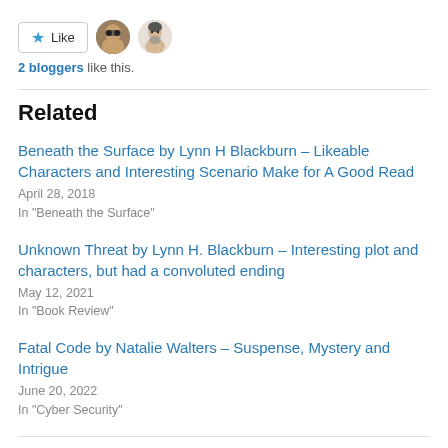[Figure (other): Like button with star icon and two avatar profile photos]
2 bloggers like this.
Related
Beneath the Surface by Lynn H Blackburn – Likeable Characters and Interesting Scenario Make for A Good Read
April 28, 2018
In "Beneath the Surface"
Unknown Threat by Lynn H. Blackburn – Interesting plot and characters, but had a convoluted ending
May 12, 2021
In "Book Review"
Fatal Code by Natalie Walters – Suspense, Mystery and Intrigue
June 20, 2022
In "Cyber Security"